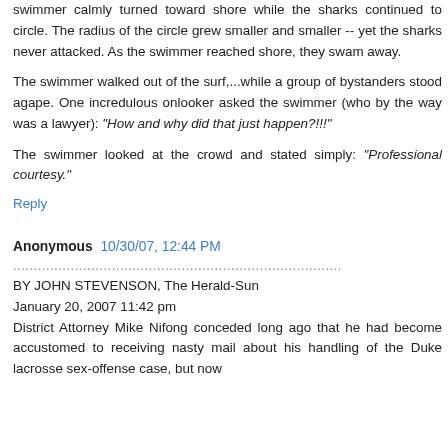swimmer calmly turned toward shore while the sharks continued to circle. The radius of the circle grew smaller and smaller -- yet the sharks never attacked. As the swimmer reached shore, they swam away.
The swimmer walked out of the surf,...while a group of bystanders stood agape. One incredulous onlooker asked the swimmer (who by the way was a lawyer): "How and why did that just happen?!!!"
The swimmer looked at the crowd and stated simply: "Professional courtesy."
Reply
Anonymous 10/30/07, 12:44 PM
..............................................................................................................
BY JOHN STEVENSON, The Herald-Sun
January 20, 2007 11:42 pm
District Attorney Mike Nifong conceded long ago that he had become accustomed to receiving nasty mail about his handling of the Duke lacrosse sex-offense case, but now